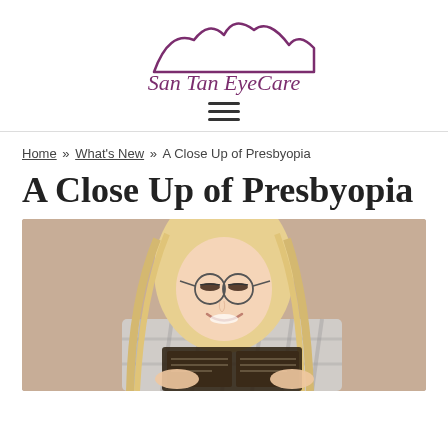San Tan EyeCare
Home » What's New » A Close Up of Presbyopia
A Close Up of Presbyopia
[Figure (photo): Woman with blonde hair and round glasses smiling while looking down at a book or document, wearing a plaid shirt]